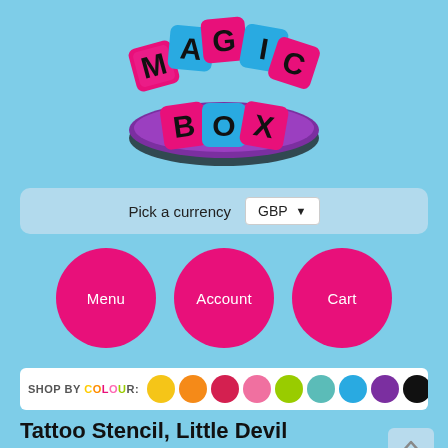[Figure (logo): Magic Box logo with colorful letter tiles spelling MAGIC BOX on a purple oval/platform, black and pink/blue/teal colored letter blocks]
Pick a currency  GBP ▼
Menu
Account
Cart
SHOP BY COLOUR:
Tattoo Stencil, Little Devil
[Figure (photo): Partial product image showing dark silhouette shapes against light background, bottom of page cut off]